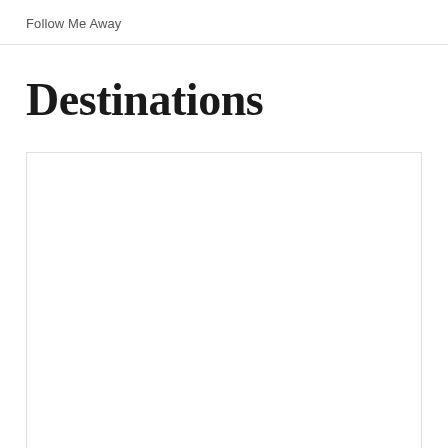Follow Me Away
Destinations
[Figure (photo): Large blank/white image placeholder below the Destinations heading]